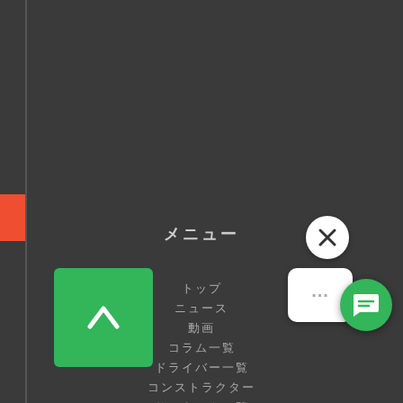[Figure (screenshot): Dark themed mobile navigation menu UI with orange accent bar on left, green back-to-top button, close button (X), chat card, and green chat icon]
メニュー
トップ
ニュース
動画
コラム一覧
ドライバー一覧
コンストラクター
サーキット一覧
レース結果
ランキング
F-1ポイント
Top50ドライバーランキング
歴代王者